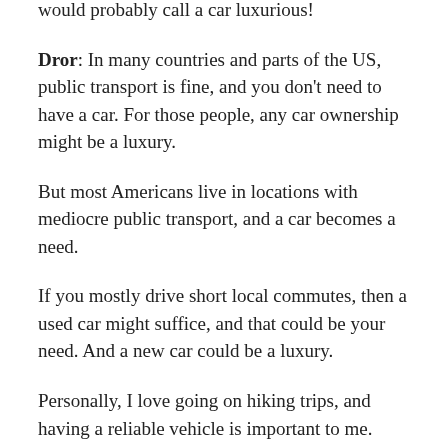would probably call a car luxurious!
Dror: In many countries and parts of the US, public transport is fine, and you don't need to have a car. For those people, any car ownership might be a luxury.
But most Americans live in locations with mediocre public transport, and a car becomes a need.
If you mostly drive short local commutes, then a used car might suffice, and that could be your need. And a new car could be a luxury.
Personally, I love going on hiking trips, and having a reliable vehicle is important to me. That said, I kept my previous car for almost 10 years. The extra costs relative to buying used are probably under $1k a year (note: Jesse wrote a breakdown on car ownership cost here). We can interpret the